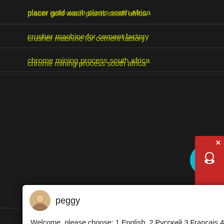placer gold wash plants south africa
crusher machine for cement factory
chrome mining process south africa
[Figure (screenshot): Chat popup widget with avatar of 'peggy' and welcome message in multiple languages: Welcome, please choose: 1.English 2.Русский 3.Français 4.Español 5.bahasa Indonesia 6.عربى]
huasong construction machinery co ltd
melaleuca stone quarry machine price
Libero Pretium Luctus